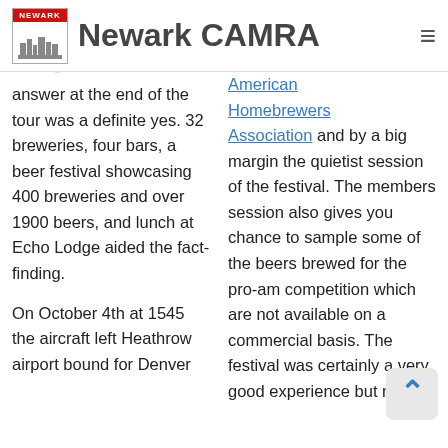Newark CAMRA
Americans really brew... answer at the end of the tour was a definite yes. 32 breweries, four bars, a beer festival showcasing 400 breweries and over 1900 beers, and lunch at Echo Lodge aided the fact-finding.
On October 4th at 1545 the aircraft left Heathrow airport bound for Denver
American Homebrewers Association and by a big margin the quietist session of the festival. The members session also gives you chance to sample some of the beers brewed for the pro-am competition which are not available on a commercial basis. The festival was certainly a very good experience but my